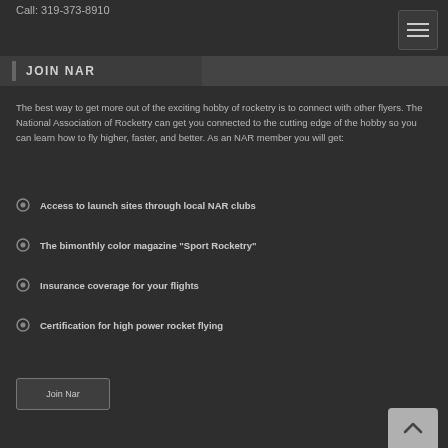Call: 319-373-8910
JOIN NAR
The best way to get more out of the exciting hobby of rocketry is to connect with other flyers. The National Association of Rocketry can get you connected to the cutting edge of the hobby so you can learn how to fly higher, faster, and better. As an NAR member you will get:
Access to launch sites through local NAR clubs
The bimonthly color magazine "Sport Rocketry"
Insurance coverage for your flights
Certification for high power rocket flying
Join Nar